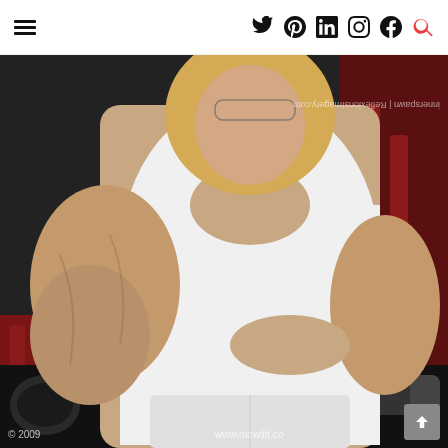Navigation bar with hamburger menu and social icons: Twitter, Pinterest, LinkedIn, Instagram, Facebook, Search
[Figure (photo): A female bodybuilder in a white tank top and white shorts posing in a gym, showing muscular arms and physique. Watermark text reads 'ReflexionsImagery.com' vertically on right side. Bottom left shows '© 2009', bottom right shows 'www.mowifit.co']